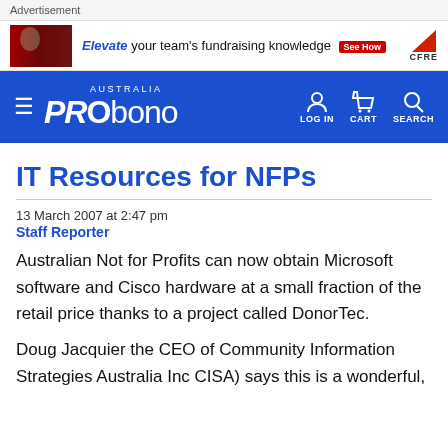Advertisement
[Figure (infographic): Advertisement banner: image of people on left, text 'Elevate your team's fundraising knowledge See How' and CFRE logo on right]
[Figure (logo): Pro Bono Australia navigation bar with hamburger menu, logo, LOG IN, CART, and SEARCH icons]
IT Resources for NFPs
13 March 2007 at 2:47 pm
Staff Reporter
Australian Not for Profits can now obtain Microsoft software and Cisco hardware at a small fraction of the retail price thanks to a project called DonorTec.
Doug Jacquier the CEO of Community Information Strategies Australia Inc CISA) says this is a wonderful,